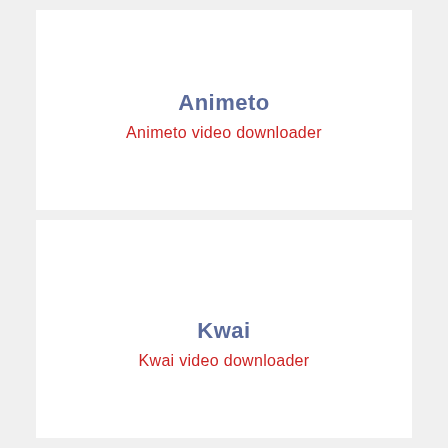Animeto
Animeto video downloader
Kwai
Kwai video downloader